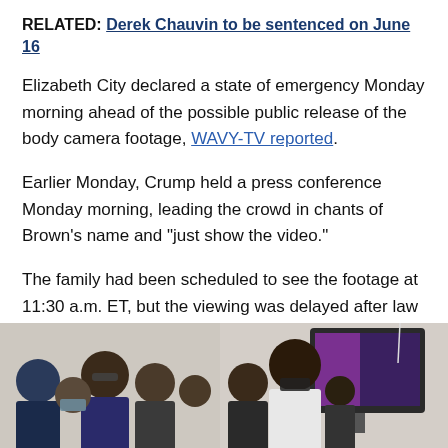RELATED: Derek Chauvin to be sentenced on June 16
Elizabeth City declared a state of emergency Monday morning ahead of the possible public release of the body camera footage, WAVY-TV reported.
Earlier Monday, Crump held a press conference Monday morning, leading the crowd in chants of Brown's name and "just show the video."
The family had been scheduled to see the footage at 11:30 a.m. ET, but the viewing was delayed after law enforcement said redactions were needed on the video, such as blurred faces, according to the news station.
[Figure (photo): Photo of a group of people wearing masks at what appears to be a press conference or indoor gathering. A person with sunglasses is visible at center, with others surrounding them. A TV screen is visible in the background.]